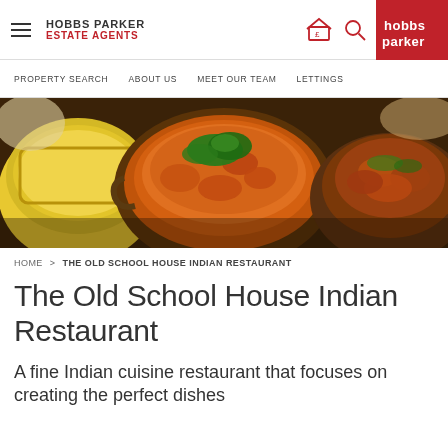HOBBS PARKER ESTATE AGENTS
PROPERTY SEARCH  ABOUT US  MEET OUR TEAM  LETTINGS
[Figure (photo): Overhead photo of Indian food in metal bowls: yellow rice on the left, orange curry with coriander garnish in the centre, and a dish of fried/spiced chicken on the right, all on a dark background.]
HOME > THE OLD SCHOOL HOUSE INDIAN RESTAURANT
The Old School House Indian Restaurant
A fine Indian cuisine restaurant that focuses on creating the perfect dishes